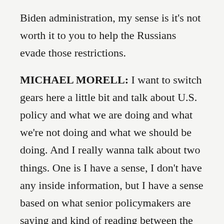Biden administration, my sense is it's not worth it to you to help the Russians evade those restrictions.
MICHAEL MORELL: I want to switch gears here a little bit and talk about U.S. policy and what we are doing and what we're not doing and what we should be doing. And I really wanna talk about two things. One is I have a sense, I don't have any inside information, but I have a sense based on what senior policymakers are saying and kind of reading between the lines that in their mind, this is not just about Russia and Ukraine, but this is about democracy versus autocracy. And if that's the case, first, do you get that same sense that I do? Number one and number two, if that's the case, doesn't that make it more difficult for China and how to position itself?